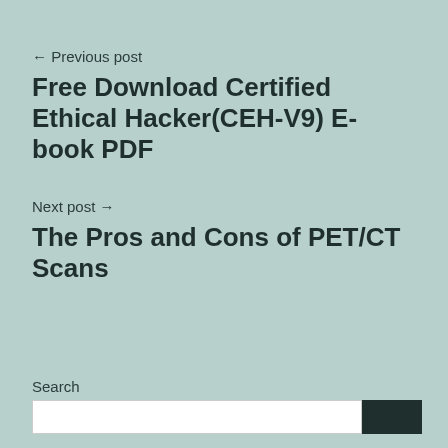← Previous post
Free Download Certified Ethical Hacker(CEH-V9) E-book PDF
Next post →
The Pros and Cons of PET/CT Scans
Search